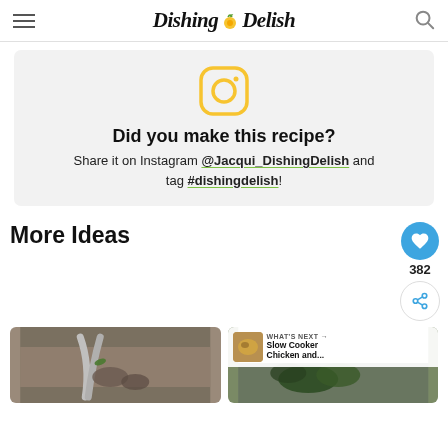Dishing Delish
[Figure (infographic): Instagram promotion box with Instagram icon, headline 'Did you make this recipe?', and text asking to share on Instagram @Jacqui_DishingDelish and tag #dishingdelish]
More Ideas
[Figure (photo): Two food/recipe thumbnail photos side by side at the bottom of the page. Right side shows a 'WHAT'S NEXT' bar with a small food image and text 'Slow Cooker Chicken and...']